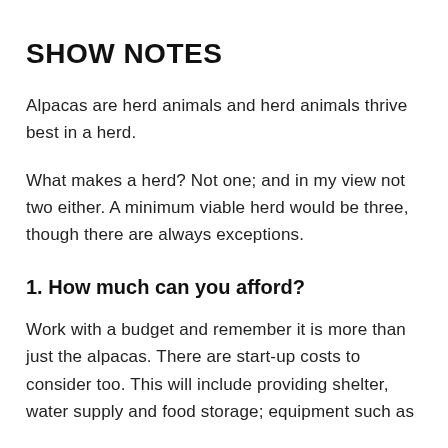SHOW NOTES
Alpacas are herd animals and herd animals thrive best in a herd.
What makes a herd? Not one; and in my view not two either. A minimum viable herd would be three, though there are always exceptions.
1. How much can you afford?
Work with a budget and remember it is more than just the alpacas. There are start-up costs to consider too. This will include providing shelter, water supply and food storage; equipment such as